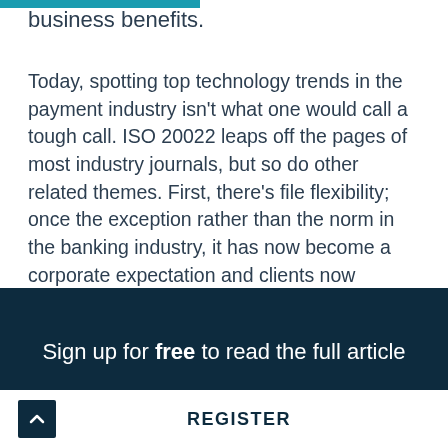business benefits.
Today, spotting top technology trends in the payment industry isn't what one would call a tough call. ISO 20022 leaps off the pages of most industry journals, but so do other related themes. First, there's file flexibility; once the exception rather than the norm in the banking industry, it has now become a corporate expectation and clients now assume banks will accommodate them on this front. Second, the natural corollary is that banks need to be experts in translating file formats, with multilingual interpretation as a common client requirement.
Sign up for free to read the full article
REGISTER